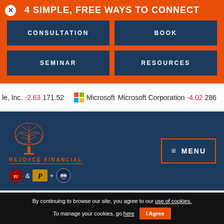4 SIMPLE, FREE WAYS TO CONNECT
CONSULTATION
BOOK
SEMINAR
RESOURCES
le, Inc.  -2.63  171.52    Microsoft  Microsoft Corporation  -4.02  286
[Figure (logo): ReJoyce Financial tree logo with text REJOYCE FINANCIAL and university badges (Indiana, Purdue, Butler)]
≡ MENU
By continuing to browse our site, you agree to our use of cookies. To manage your cookies, go here
I Agree